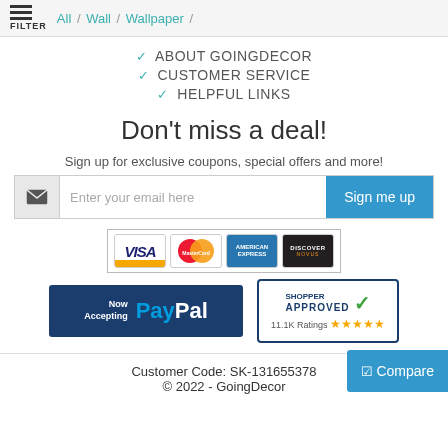FILTER / All / Wall / Wallpaper /
✓ ABOUT GOINGDECOR
✓ CUSTOMER SERVICE
✓ HELPFUL LINKS
Don't miss a deal!
Sign up for exclusive coupons, special offers and more!
Enter your email here  [Sign me up]
[Figure (logo): Payment logos: VISA, MasterCard, American Express, Discover]
[Figure (logo): Now Accepting PayPal logo]
[Figure (logo): Shopper Approved badge with 11.1K Ratings and 5 stars]
[Figure (other): Compare button (checkbox icon + Compare text)]
Customer Code: SK-131655378
© 2022 - GoingDecor